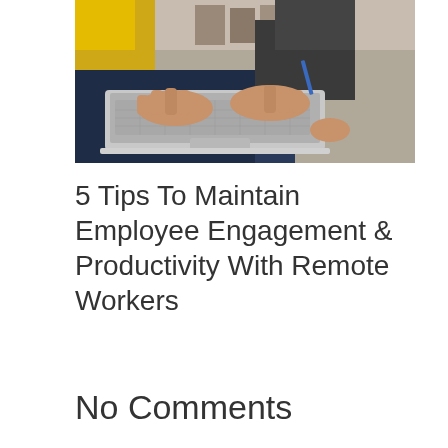[Figure (photo): Person working on a laptop, hands typing on keyboard, yellow cushion visible in background, casual setting]
5 Tips To Maintain Employee Engagement & Productivity With Remote Workers
No Comments